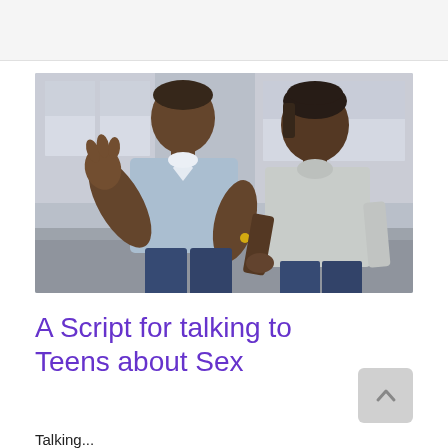[Figure (photo): An adult Black man in a light blue button-down shirt sits outdoors and gestures with his hands while talking to a Black teenage boy in a grey long-sleeve shirt. They appear to be seated on steps in front of a house with windows visible in the background.]
A Script for talking to Teens about Sex
Talking...